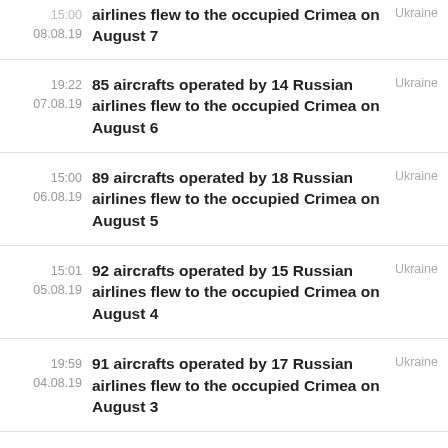15:00 08.08.19 — airlines flew to the occupied Crimea on August 7 — Ukraine
19:22 07.08.19 — 85 aircrafts operated by 14 Russian airlines flew to the occupied Crimea on August 6 — Ukraine
15:00 06.08.19 — 89 aircrafts operated by 18 Russian airlines flew to the occupied Crimea on August 5 — Ukraine
15:01 05.08.19 — 92 aircrafts operated by 15 Russian airlines flew to the occupied Crimea on August 4 — Ukraine
19:59 04.08.19 — 91 aircrafts operated by 17 Russian airlines flew to the occupied Crimea on August 3 — Ukraine
86 aircrafts operated by 13 Russian...